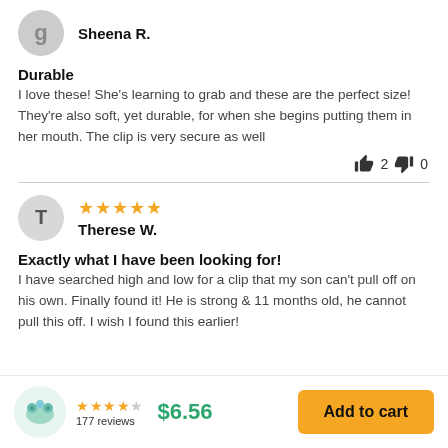Sheena R.
Durable
I love these! She's learning to grab and these are the perfect size! They're also soft, yet durable, for when she begins putting them in her mouth. The clip is very secure as well
👍 2  👎 0
T — Therese W. — 5 stars
Exactly what I have been looking for!
I have searched high and low for a clip that my son can't pull off on his own. Finally found it! He is strong & 11 months old, he cannot pull this off. I wish I found this earlier!
177 reviews  $6.56  Add to cart